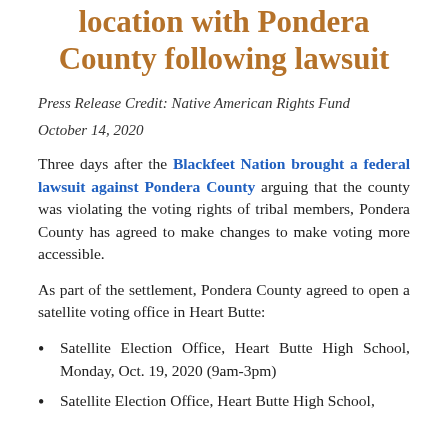location with Pondera County following lawsuit
Press Release Credit: Native American Rights Fund
October 14, 2020
Three days after the Blackfeet Nation brought a federal lawsuit against Pondera County arguing that the county was violating the voting rights of tribal members, Pondera County has agreed to make changes to make voting more accessible.
As part of the settlement, Pondera County agreed to open a satellite voting office in Heart Butte:
Satellite Election Office, Heart Butte High School, Monday, Oct. 19, 2020 (9am-3pm)
Satellite Election Office, Heart Butte High School,